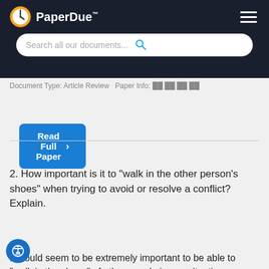PaperDue™
Search all our documents...
Document Type: Article Review  Paper Info: ██ ██ ██
Read Full Paper
2. How important is it to "walk in the other person's shoes" when trying to avoid or resolve a conflict? Explain.
It would seem to be extremely important to be able to "walk in the shoes" of other people in any situation